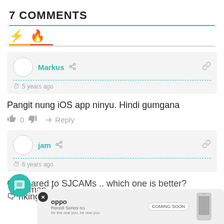7 COMMENTS
Markus  5 years ago
Pangit nung iOS app ninyu. Hindi gumgana
0  Reply
jam  6 years ago
Compared to SJCAMs .. which one is better? Thinking of giving myself an action cam this Christmas.